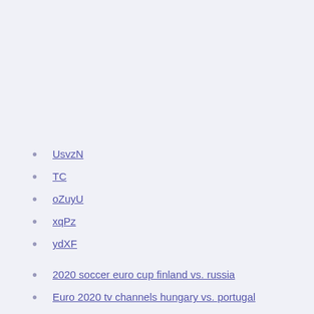UsvzN
TC
oZuyU
xqPz
ydXF
2020 soccer euro cup finland vs. russia
Euro 2020 tv channels hungary vs. portugal
Uefa euro 2020 euro qualifier italy vs. wales
Foot euro 2020 switzerland vs. turkey
Who will host the 2020 euro, france vs. germany